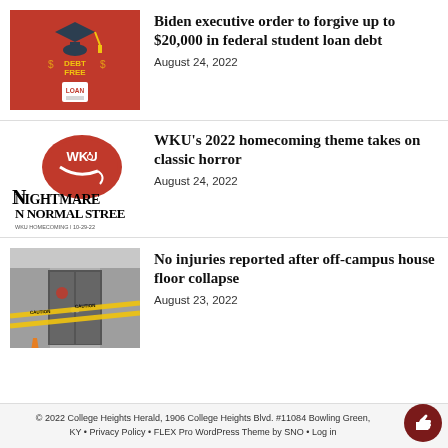[Figure (illustration): Red square image with graduation cap and 'Debt Free' text with dollar sign decorations, and a paper labeled 'LOAN' below]
Biden executive order to forgive up to $20,000 in federal student loan debt
August 24, 2022
[Figure (logo): WKU logo with red Big Red mascot helmet and text 'NIGHTMARE N NORMAL STREE WKU HOMECOMING | 10-29-22']
WKU's 2022 homecoming theme takes on classic horror
August 24, 2022
[Figure (photo): Photo of building entrance with yellow caution tape across doors, gray walls and ceiling visible]
No injuries reported after off-campus house floor collapse
August 23, 2022
© 2022 College Heights Herald, 1906 College Heights Blvd. #11084 Bowling Green, KY • Privacy Policy • FLEX Pro WordPress Theme by SNO • Log in